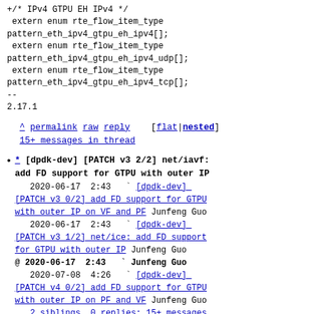+/* IPv4 GTPU EH IPv4 */
 extern enum rte_flow_item_type pattern_eth_ipv4_gtpu_eh_ipv4[];
 extern enum rte_flow_item_type pattern_eth_ipv4_gtpu_eh_ipv4_udp[];
 extern enum rte_flow_item_type pattern_eth_ipv4_gtpu_eh_ipv4_tcp[];
--
2.17.1
^ permalink raw reply  [flat|nested]
15+ messages in thread
* [dpdk-dev] [PATCH v3 2/2] net/iavf: add FD support for GTPU with outer IP
2020-06-17 2:43  ` [dpdk-dev] [PATCH v3 0/2] add FD support for GTPU with outer IP on VF and PF Junfeng Guo
2020-06-17 2:43  ` [dpdk-dev] [PATCH v3 1/2] net/ice: add FD support for GTPU with outer IP Junfeng Guo
@ 2020-06-17 2:43  ` Junfeng Guo
2020-07-08 4:26  ` [dpdk-dev] [PATCH v4 0/2] add FD support for GTPU with outer IP on PF and VF Junfeng Guo
  2 siblings, 0 replies; 15+ messages in thread
From: Junfeng Guo @ 2020-06-17 2:43 UTC (permalink / raw)